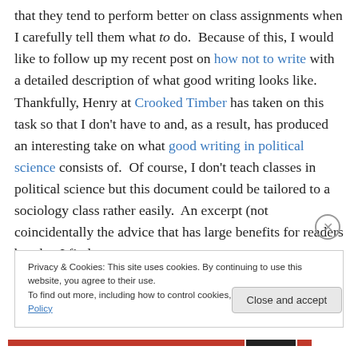that they tend to perform better on class assignments when I carefully tell them what to do.  Because of this, I would like to follow up my recent post on how not to write with a detailed description of what good writing looks like.  Thankfully, Henry at Crooked Timber has taken on this task so that I don't have to and, as a result, has produced an interesting take on what good writing in political science consists of.  Of course, I don't teach classes in political science but this document could be tailored to a sociology class rather easily.  An excerpt (not coincidentally the advice that has large benefits for readers but that I find
Privacy & Cookies: This site uses cookies. By continuing to use this website, you agree to their use.
To find out more, including how to control cookies, see here: Cookie Policy
Close and accept